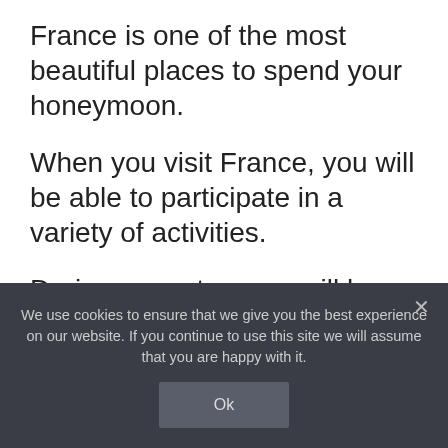France is one of the most beautiful places to spend your honeymoon.
When you visit France, you will be able to participate in a variety of activities.
During your stay, you will be able to do more than just visit famous churches, vineyards, and castles.
Ask your travel agent or look it up online how you can enjoy the following enjoyable
We use cookies to ensure that we give you the best experience on our website. If you continue to use this site we will assume that you are happy with it.